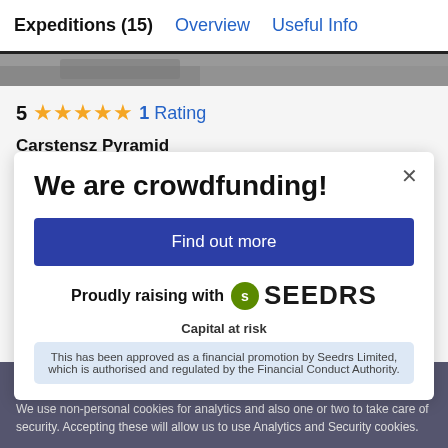Expeditions (15)  Overview  Useful Info
[Figure (photo): Partial mountain/landscape photo strip]
5 ★★★★★ 1 Rating
Carstensz Pyramid
IMG (International Mountain Guides)
Carstensz Pyramid
$26,500
We are crowdfunding!
Find out more
Proudly raising with SEEDRS
Capital at risk
This has been approved as a financial promotion by Seedrs Limited, which is authorised and regulated by the Financial Conduct Authority.
You guessed it. This site uses cookies.
We use non-personal cookies for analytics and also one or two to take care of security. Accepting these will allow us to use Analytics and Security cookies.